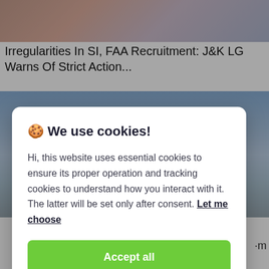[Figure (screenshot): Background news website page partially visible behind cookie consent modal. Shows a blurred/cropped thumbnail image at top, a news headline about J&K LG warning of strict action over irregularities in SI/FAA recruitment, and a landscape photo with blue sky below.]
Irregularities In SI, FAA Recruitment: J&K LG Warns Of Strict Action...
🍪 We use cookies!
Hi, this website uses essential cookies to ensure its proper operation and tracking cookies to understand how you interact with it. The latter will be set only after consent. Let me choose
Accept all
Reject all